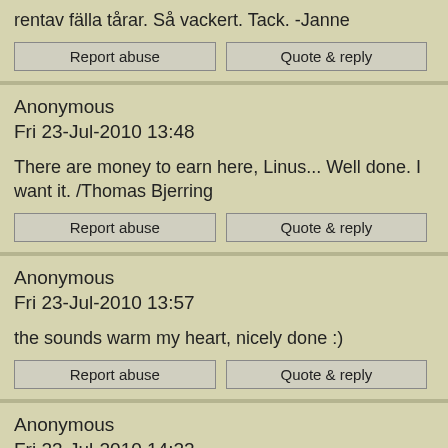rentav fälla tårar. Så vackert. Tack. -Janne
Anonymous
Fri 23-Jul-2010 13:48
There are money to earn here, Linus... Well done. I want it. /Thomas Bjerring
Anonymous
Fri 23-Jul-2010 13:57
the sounds warm my heart, nicely done :)
Anonymous
Fri 23-Jul-2010 14:22